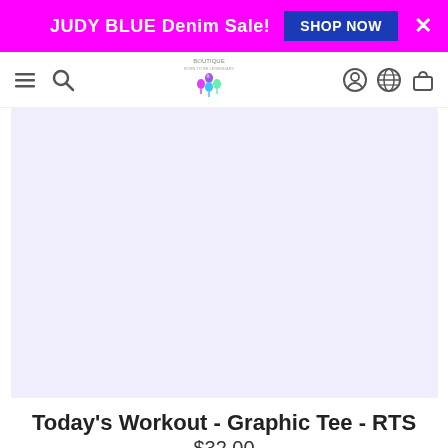JUDY BLUE Denim Sale! SHOP NOW
[Figure (screenshot): Website navigation bar with hamburger menu, search icon, boutique logo (grape cluster of colorful map pins), profile icon, earth icon, and shopping bag icon]
[Figure (photo): Product image area with light lavender/blue background, product image appears to be loading or blank]
Today's Workout - Graphic Tee - RTS
$32.00